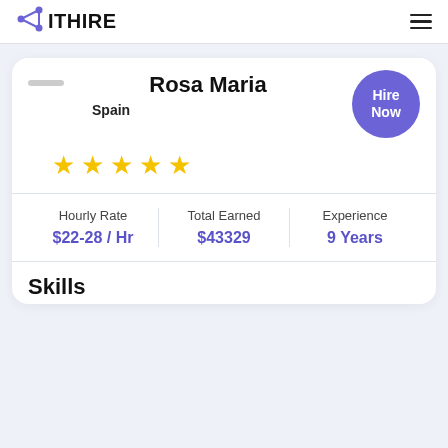ITHIRE
Rosa Maria
Spain
[Figure (other): 5 gold star rating]
| Hourly Rate | Total Earned | Experience |
| --- | --- | --- |
| $22-28 / Hr | $43329 | 9 Years |
Skills